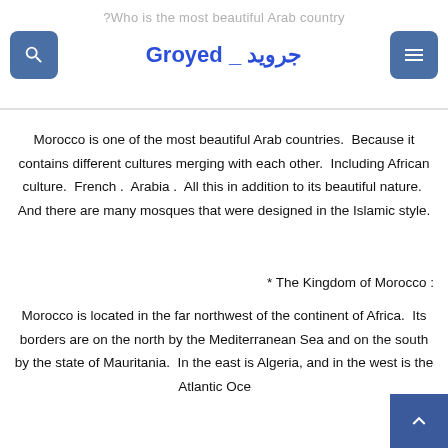?Who is the most beautiful Arab country
Groyed _ جرويد
Morocco is one of the most beautiful Arab countries.  Because it contains different cultures merging with each other.  Including African culture.  French .  Arabia .  All this in addition to its beautiful nature.  And there are many mosques that were designed in the Islamic style.
* The Kingdom of Morocco :
Morocco is located in the far northwest of the continent of Africa.  Its borders are on the north by the Mediterranean Sea and on the south by the state of Mauritania.  In the east is Algeria, and in the west is the Atlantic Ocean.